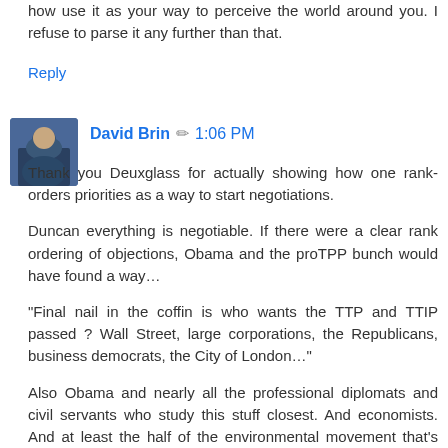how use it as your way to perceive the world around you. I refuse to parse it any further than that.
Reply
David Brin  1:06 PM
Thank you Deuxglass for actually showing how one rank-orders priorities as a way to start negotiations.
Duncan everything is negotiable. If there were a clear rank ordering of objections, Obama and the proTPP bunch would have found a way…
“Final nail in the coffin is who wants the TTP and TTIP passed ? Wall Street, large corporations, the Republicans, business democrats, the City of London…”
Also Obama and nearly all the professional diplomats and civil servants who study this stuff closest. And economists. And at least the half of the environmental movement that’s immersed in law. And child labor activists. And those wanting to show the Han that grownup behavior will be